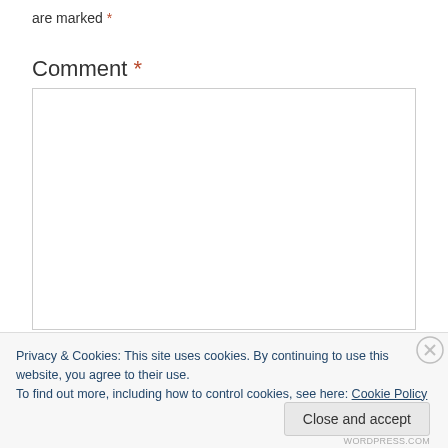are marked *
Comment *
[Figure (other): Empty comment textarea input box with light gray border]
Privacy & Cookies: This site uses cookies. By continuing to use this website, you agree to their use.
To find out more, including how to control cookies, see here: Cookie Policy
Close and accept